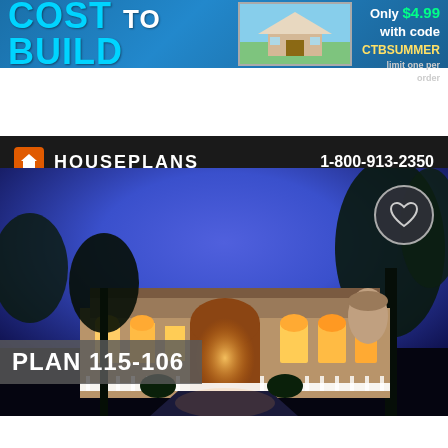[Figure (screenshot): Banner ad for Cost to Build feature with house image and promo code CTBSUMMER for $4.99 reports]
HOUSEPLANS  1-800-913-2350
REGISTER  LOGIN  SAVED ♥  CART
PLAN 115-106
[Figure (photo): Night photograph of a large Mediterranean-style luxury house with arched entry, palm trees, and dramatic blue twilight sky]
PROMO CODES
Photographs may show modified designs.